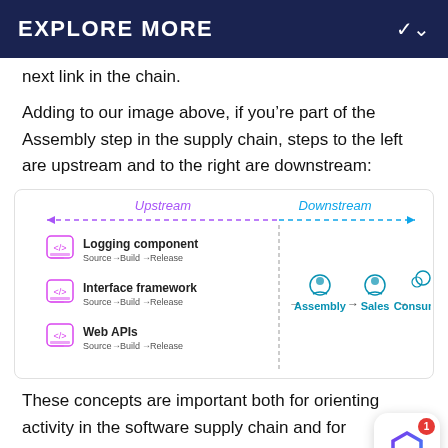EXPLORE MORE
next link in the chain.
Adding to our image above, if you’re part of the Assembly step in the supply chain, steps to the left are upstream and to the right are downstream:
[Figure (flowchart): Diagram showing upstream and downstream directions in a supply chain. Upstream (left, purple dashed arrow) contains: Logging component (Source → Build → Release), Interface framework (Source → Build → Release), Web APIs (Source → Build → Release). Downstream (right, blue dashed arrow) contains: Assembly → Sales → Consumer, each with an icon above.]
These concepts are important both for orienting activity in the software supply chain and for